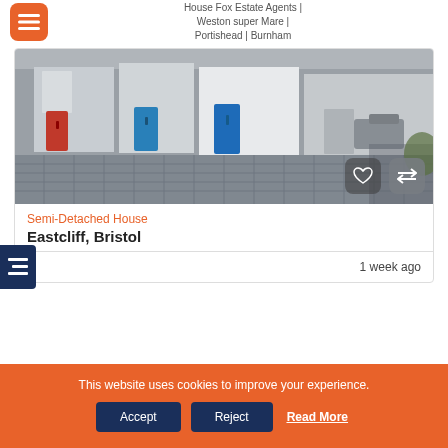House Fox Estate Agents | Weston super Mare | Portishead | Burnham
[Figure (photo): Street-level photo of a semi-detached property with colourful doors and a paved driveway]
Semi-Detached House
Eastcliff, Bristol
1 week ago
This website uses cookies to improve your experience.